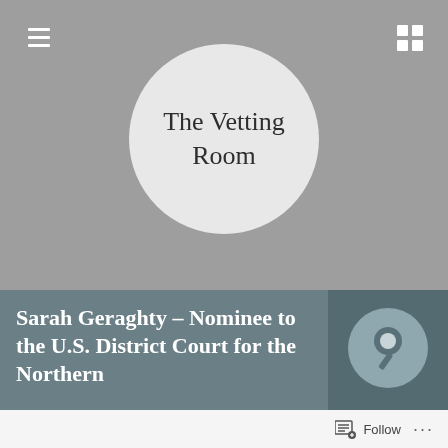[Figure (logo): The Vetting Room logo — text in a light grey circle on a grey background, with hamburger menu and grid icons in top corners]
Sarah Geraghty – Nominee to the U.S. District Court for the Northern
[Figure (illustration): Circular pin/pushpin icon on dark grey background]
Follow ...